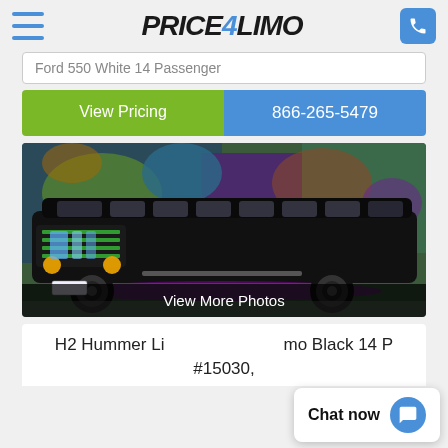PRICE4LIMO
Ford 550 White 14 Passenger
View Pricing
866-265-5479
[Figure (photo): Black H2 Hummer stretch limousine parked in front of a graffiti-covered wall, with purple accent lighting under the chassis and illuminated front grille.]
View More Photos
H2 Hummer Limo Black 14 Passenger #15030,
Chat now